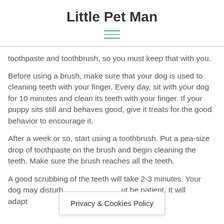Little Pet Man
toothpaste and toothbrush, so you must keep that with you.
Before using a brush, make sure that your dog is used to cleaning teeth with your finger. Every day, sit with your dog for 10 minutes and clean its teeth with your finger. If your puppy sits still and behaves good, give it treats for the good behavior to encourage it.
After a week or so, start using a toothbrush. Put a pea-size drop of toothpaste on the brush and begin cleaning the teeth. Make sure the brush reaches all the teeth.
A good scrubbing of the teeth will take 2-3 minutes. Your dog may disturb… but be patient. It will adapt… so two
Privacy & Cookies Policy